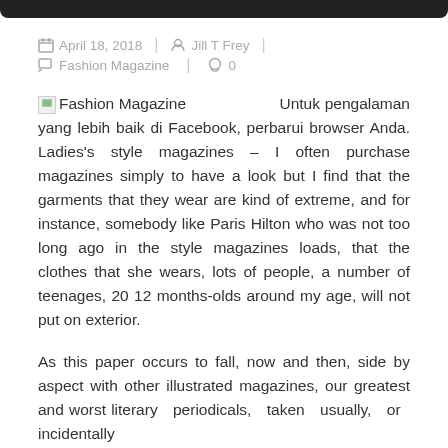April 18, 2018   |   Jill T Frey
Fashion Magazine   |   0
Fashion Magazine   Untuk pengalaman yang lebih baik di Facebook, perbarui browser Anda. Ladies's style magazines – I often purchase magazines simply to have a look but I find that the garments that they wear are kind of extreme, and for instance, somebody like Paris Hilton who was not too long ago in the style magazines loads, that the clothes that she wears, lots of people, a number of teenages, 20 12 months-olds around my age, will not put on exterior.
As this paper occurs to fall, now and then, side by aspect with other illustrated magazines, our greatest and worst literary periodicals, taken usually, or incidentally